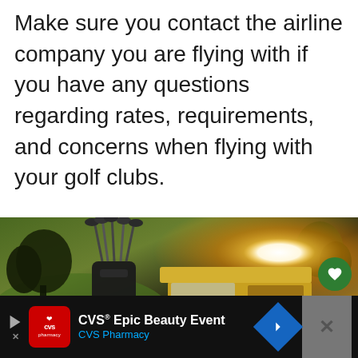Make sure you contact the airline company you are flying with if you have any questions regarding rates, requirements, and concerns when flying with your golf clubs.
[Figure (photo): Golf clubs in a bag on a golf cart at sunset on a golf course, with warm golden light in the background. Overlaid UI elements include a green heart/save button, a share button, and a 'What's Next' panel showing 'Golf Club Selection...' with a thumbnail.]
[Figure (screenshot): CVS Epic Beauty Event advertisement banner with CVS Pharmacy logo (red with heart), navigation arrow icon in blue diamond shape, and a partially visible right panel with an X close button.]